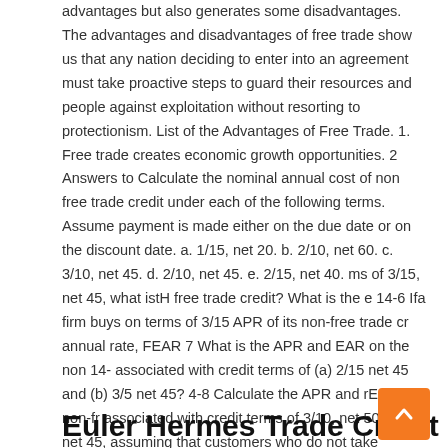advantages but also generates some disadvantages. The advantages and disadvantages of free trade show us that any nation deciding to enter into an agreement must take proactive steps to guard their resources and people against exploitation without resorting to protectionism. List of the Advantages of Free Trade. 1. Free trade creates economic growth opportunities. 2 Answers to Calculate the nominal annual cost of non free trade credit under each of the following terms. Assume payment is made either on the due date or on the discount date. a. 1/15, net 20. b. 2/10, net 60. c. 3/10, net 45. d. 2/10, net 45. e. 2/15, net 40. ms of 3/15, net 45, what istH free trade credit? What is the e 14-6 Ifa firm buys on terms of 3/15 APR of its non-free trade cr annual rate, FEAR 7 What is the APR and EAR on the non 14- associated with credit terms of (a) 2/15 net 45 and (b) 3/5 net 45? 4-8 Calculate the APR and rEAR of non-fr associated with credit terms of 3/10, net 50 2.5/15, net 45, assuming that customers who do not take
Euler Hermes Trade Credit